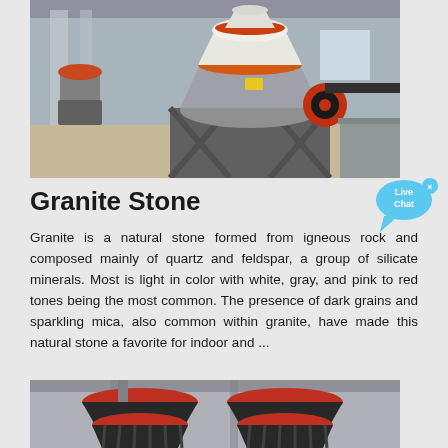[Figure (photo): Industrial cone crusher machine with white and orange components on a metal frame, inside a factory/warehouse setting]
Granite Stone
Granite is a natural stone formed from igneous rock and composed mainly of quartz and feldspar, a group of silicate minerals. Most is light in color with white, gray, and pink to red tones being the most common. The presence of dark grains and sparkling mica, also common within granite, have made this natural stone a favorite for indoor and ...
[Figure (photo): Two red and black industrial cone crusher machines side by side in a factory setting, partially cropped at bottom of page]